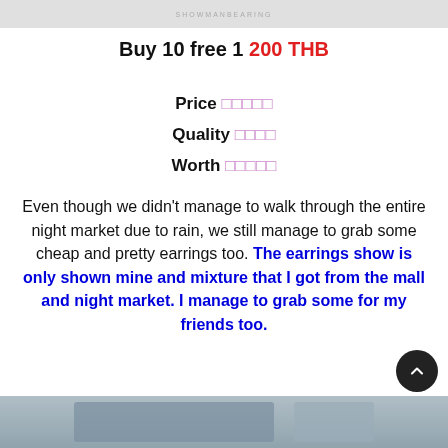[Figure (photo): Top portion of a product/blog image with watermark text 'SHOWMANBEARING' or similar on light grey background]
Buy 10 free 1 200 THB
Price ☆☆☆☆☆
Quality ☆☆☆☆
Worth ☆☆☆☆☆
Even though we didn't manage to walk through the entire night market due to rain, we still manage to grab some cheap and pretty earrings too. The earrings show is only shown mine and mixture that I got from the mall and night market. I manage to grab some for my friends too.
[Figure (photo): Bottom partial image showing earrings on a surface, cropped at page bottom]